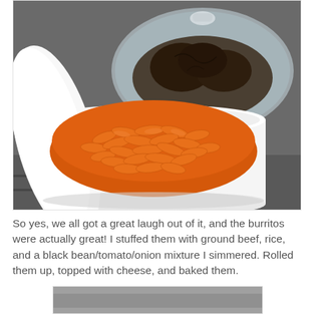[Figure (photo): A white round container (pot) filled with orange cheese puffs/curls, sitting on a stove top. In the background there is a glass lid and a dark brown object (baked item) under it, and another cooking pot partially visible.]
So yes, we all got a great laugh out of it, and the burritos were actually great! I stuffed them with ground beef, rice, and a black bean/tomato/onion mixture I simmered. Rolled them up, topped with cheese, and baked them.
[Figure (photo): Partial view of another food photo, cut off at the bottom of the page.]